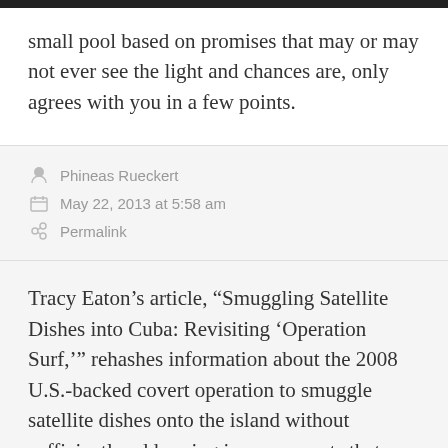small pool based on promises that may or may not ever see the light and chances are, only agrees with you in a few points.
Phineas Rueckert
May 22, 2013 at 5:58 am
Permalink
Tracy Eaton's article, “Smuggling Satellite Dishes into Cuba: Revisiting ‘Operation Surf,’” rehashes information about the 2008 U.S.-backed covert operation to smuggle satellite dishes onto the island without sufficiently addressing improvements that have been